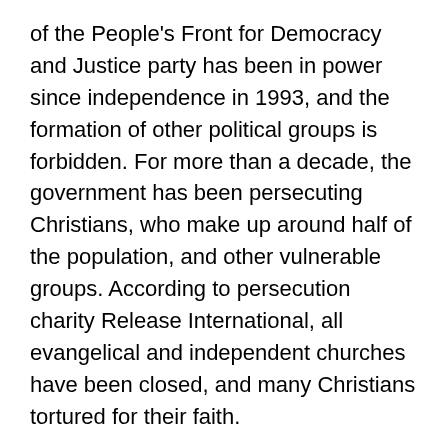of the People's Front for Democracy and Justice party has been in power since independence in 1993, and the formation of other political groups is forbidden. For more than a decade, the government has been persecuting Christians, who make up around half of the population, and other vulnerable groups. According to persecution charity Release International, all evangelical and independent churches have been closed, and many Christians tortured for their faith.
Last year, Eritreans were the second largest group to risk the perilous journey across the Mediterranean in the hope of a better life in Europe. The largest group were from Syria, where a five-year civil war is dragging on.